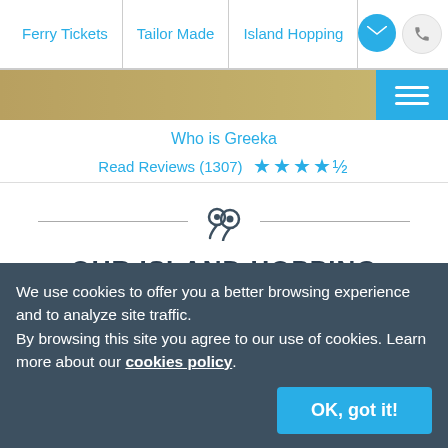Ferry Tickets | Tailor Made | Island Hopping | To...
Who is Greeka
Read Reviews (1307) ★★★★½
[Figure (illustration): Two location pin icons]
OUR ISLAND HOPPING PACKAGES
Discover our best island hopping packages in the
We use cookies to offer you a better browsing experience and to analyze site traffic.
By browsing this site you agree to our use of cookies. Learn more about our cookies policy